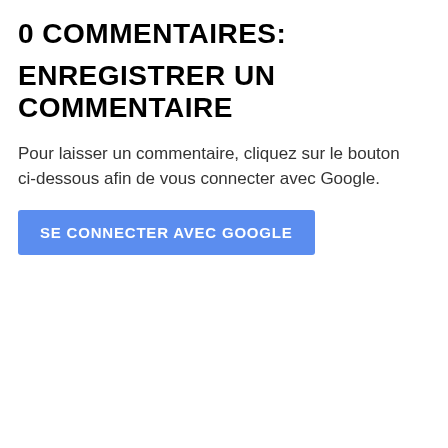0 COMMENTAIRES:
ENREGISTRER UN COMMENTAIRE
Pour laisser un commentaire, cliquez sur le bouton ci-dessous afin de vous connecter avec Google.
SE CONNECTER AVEC GOOGLE